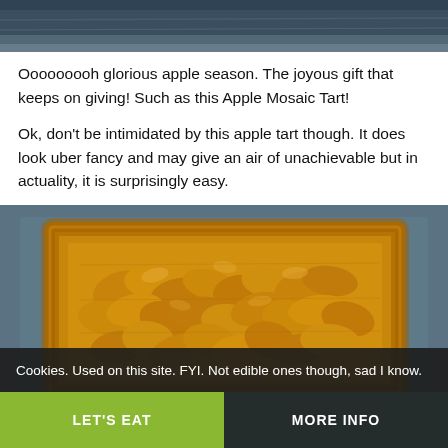[Figure (photo): Top portion of a baking pan / food photo cropped at top of page]
Ooooooooh glorious apple season.  The joyous gift that keeps on giving!  Such as this Apple Mosaic Tart!
Ok, don't be intimidated by this apple tart though.  It does look uber fancy and may give an air of unachievable but in actuality, it is surprisingly easy.
[Figure (photo): A golden baked Apple Mosaic Tart on a dark baking sheet, showing overlapping caramelized apple slices arranged in a mosaic pattern on puff pastry with golden-brown edges.]
Cookies. Used on this site. FYI. Not edible ones though, sad I know.
LET'S EAT   MORE INFO